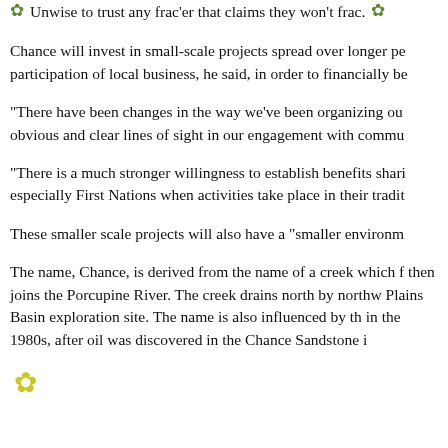Unwise to trust any frac'er that claims they won't frac.
Chance will invest in small-scale projects spread over longer pe participation of local business, he said, in order to financially be
“There have been changes in the way we’ve been organizing ou obvious and clear lines of sight in our engagement with commu
“There is a much stronger willingness to establish benefits shari especially First Nations when activities take place in their tradit
These smaller scale projects will also have a “smaller environm
The name, Chance, is derived from the name of a creek which f then joins the Porcupine River. The creek drains north by northw Plains Basin exploration site. The name is also influenced by th in the 1980s, after oil was discovered in the Chance Sandstone i
[Figure (illustration): Green decorative flower/snowflake icon at bottom left]